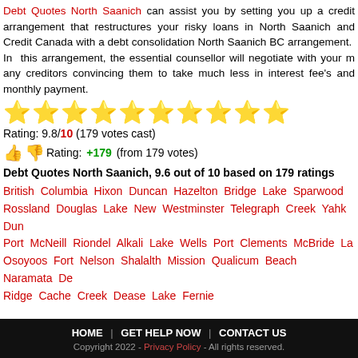Debt Quotes North Saanich can assist you by setting you up a credit arrangement that restructures your risky loans in North Saanich and Credit Canada with a debt consolidation North Saanich BC arrangement. In this arrangement, the essential counsellor will negotiate with your many creditors convincing them to take much less in interest fee's and monthly payment.
[Figure (other): 10 gold star rating icons]
Rating: 9.8/10 (179 votes cast)
👍 👎 Rating: +179 (from 179 votes)
Debt Quotes North Saanich, 9.6 out of 10 based on 179 ratings
British Columbia Hixon Duncan Hazelton Bridge Lake Sparwood Rossland Douglas Lake New Westminster Telegraph Creek Yahk Dun Port McNeill Riondel Alkali Lake Wells Port Clements McBride La Osoyoos Fort Nelson Shalalth Mission Qualicum Beach Naramata De Ridge Cache Creek Dease Lake Fernie
HOME | GET HELP NOW | CONTACT US
Copyright 2022 - Privacy Policy - All rights reserved.